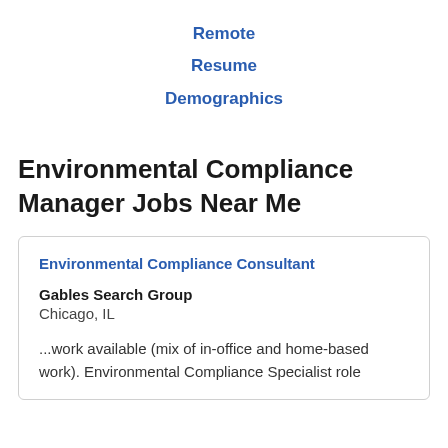Remote
Resume
Demographics
Environmental Compliance Manager Jobs Near Me
Environmental Compliance Consultant
Gables Search Group
Chicago, IL
...work available (mix of in-office and home-based work). Environmental Compliance Specialist role